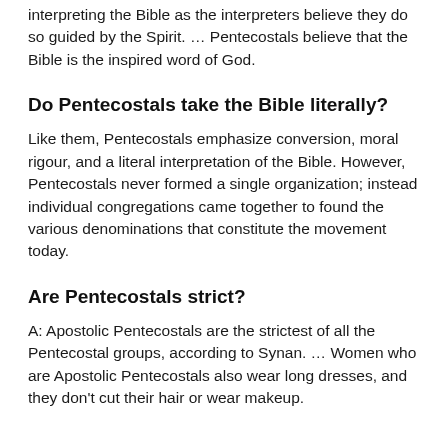interpreting the Bible as the interpreters believe they do so guided by the Spirit. … Pentecostals believe that the Bible is the inspired word of God.
Do Pentecostals take the Bible literally?
Like them, Pentecostals emphasize conversion, moral rigour, and a literal interpretation of the Bible. However, Pentecostals never formed a single organization; instead individual congregations came together to found the various denominations that constitute the movement today.
Are Pentecostals strict?
A: Apostolic Pentecostals are the strictest of all the Pentecostal groups, according to Synan. … Women who are Apostolic Pentecostals also wear long dresses, and they don't cut their hair or wear makeup.
What are the two ways to interpret the Bible?